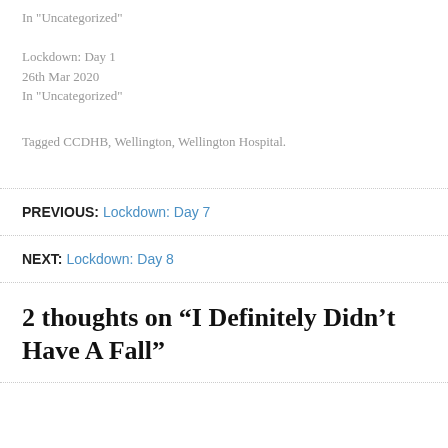In "Uncategorized"

Lockdown: Day 1
26th Mar 2020
In "Uncategorized"
Tagged CCDHB, Wellington, Wellington Hospital.
PREVIOUS: Lockdown: Day 7
NEXT: Lockdown: Day 8
2 thoughts on “I Definitely Didn’t Have A Fall”